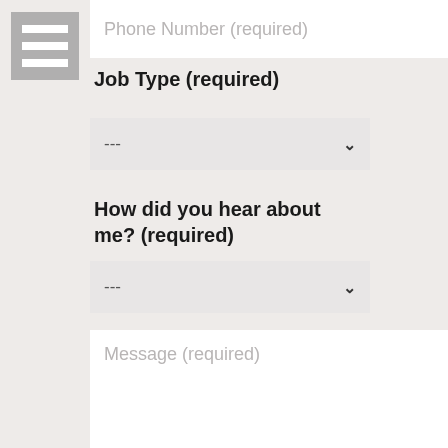[Figure (other): Hamburger menu icon with three white horizontal lines on a gray square background]
Phone Number (required)
Job Type (required)
---
How did you hear about me? (required)
---
Message (required)